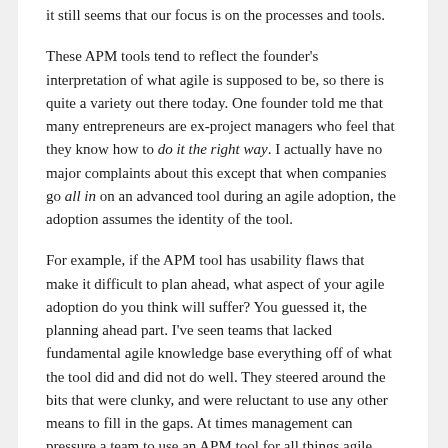it still seems that our focus is on the processes and tools.
These APM tools tend to reflect the founder's interpretation of what agile is supposed to be, so there is quite a variety out there today. One founder told me that many entrepreneurs are ex-project managers who feel that they know how to do it the right way. I actually have no major complaints about this except that when companies go all in on an advanced tool during an agile adoption, the adoption assumes the identity of the tool.
For example, if the APM tool has usability flaws that make it difficult to plan ahead, what aspect of your agile adoption do you think will suffer? You guessed it, the planning ahead part. I've seen teams that lacked fundamental agile knowledge base everything off of what the tool did and did not do well. They steered around the bits that were clunky, and were reluctant to use any other means to fill in the gaps. At times management can pressure a team to use an APM tool for all things agile, especially when a significant amount of the IT budget is involved.
If the APM tool is difficult to use or overly complex, then the